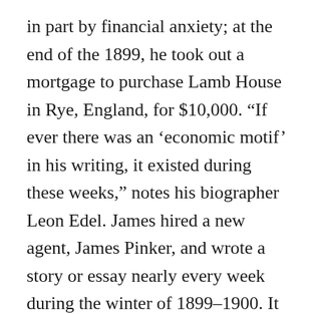in part by financial anxiety; at the end of the 1899, he took out a mortgage to purchase Lamb House in Rye, England, for $10,000. “If ever there was an ‘economic motif’ in his writing, it existed during these weeks,” notes his biographer Leon Edel. James hired a new agent, James Pinker, and wrote a story or essay nearly every week during the winter of 1899–1900. It was at this time that he finally went back to that idea in his notebook and wrote “Miss Gunton.” He ended up being paid for the story four times that year: when it